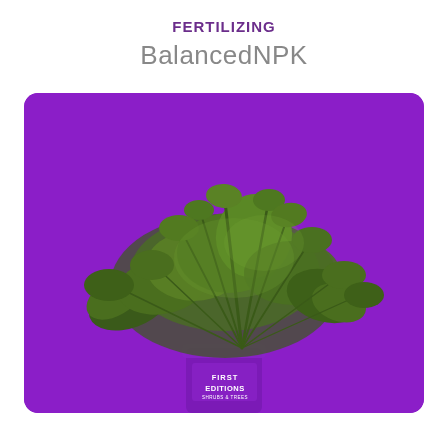FERTILIZING
BalancedNPK
[Figure (photo): A bushy green shrub plant in a purple 'First Editions Shrubs & Trees' branded pot, photographed against a bright purple background.]